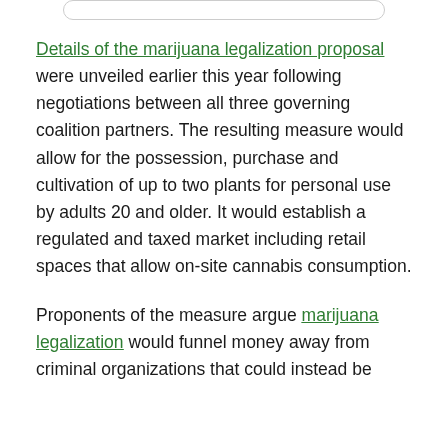Details of the marijuana legalization proposal were unveiled earlier this year following negotiations between all three governing coalition partners. The resulting measure would allow for the possession, purchase and cultivation of up to two plants for personal use by adults 20 and older. It would establish a regulated and taxed market including retail spaces that allow on-site cannabis consumption.
Proponents of the measure argue marijuana legalization would funnel money away from criminal organizations that could instead be